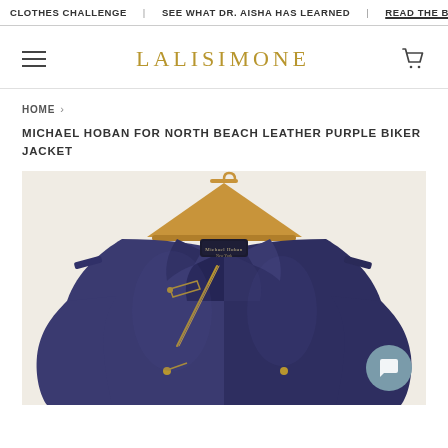CLOTHES CHALLENGE | SEE WHAT DR. AISHA HAS LEARNED | READ THE...
[Figure (logo): LALISIMONE brand logo in gold serif text with hamburger menu icon and cart icon]
HOME >
MICHAEL HOBAN FOR NORTH BEACH LEATHER PURPLE BIKER JACKET
[Figure (photo): Product photo of a purple leather biker jacket hanging on a wooden hanger against a beige/cream background. The jacket features a moto-style collar, asymmetric zip closure, gold zippers, and a designer label visible at the collar. A circular chat widget appears in the bottom right corner.]